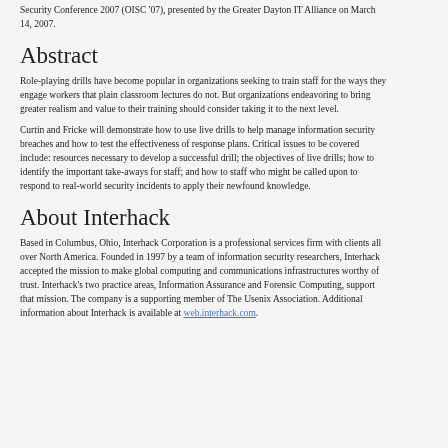Security Conference 2007 (OISC '07), presented by the Greater Dayton IT Alliance on March 14, 2007.
Abstract
Role-playing drills have become popular in organizations seeking to train staff for the ways they engage workers that plain classroom lectures do not. But organizations endeavoring to bring greater realism and value to their training should consider taking it to the next level.
Curtin and Fricke will demonstrate how to use live drills to help manage information security breaches and how to test the effectiveness of response plans. Critical issues to be covered include: resources necessary to develop a successful drill; the objectives of live drills; how to identify the important take-aways for staff; and how to staff who might be called upon to respond to real-world security incidents to apply their newfound knowledge.
About Interhack
Based in Columbus, Ohio, Interhack Corporation is a professional services firm with clients all over North America. Founded in 1997 by a team of information security researchers, Interhack accepted the mission to make global computing and communications infrastructures worthy of trust. Interhack's two practice areas, Information Assurance and Forensic Computing, support that mission. The company is a supporting member of The Usenix Association. Additional information about Interhack is available at web.interhack.com.